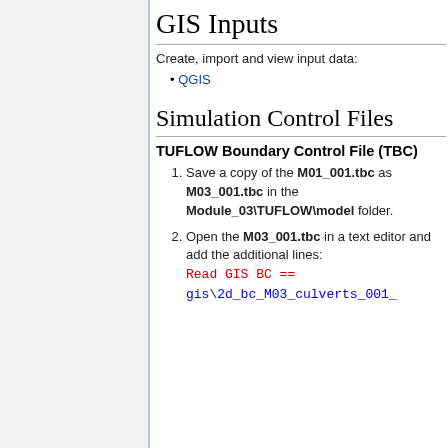GIS Inputs
Create, import and view input data:
QGIS
Simulation Control Files
TUFLOW Boundary Control File (TBC)
Save a copy of the M01_001.tbc as M03_001.tbc in the Module_03\TUFLOW\model folder.
Open the M03_001.tbc in a text editor and add the additional lines: Read GIS BC == gis\2d_bc_M03_culverts_001_